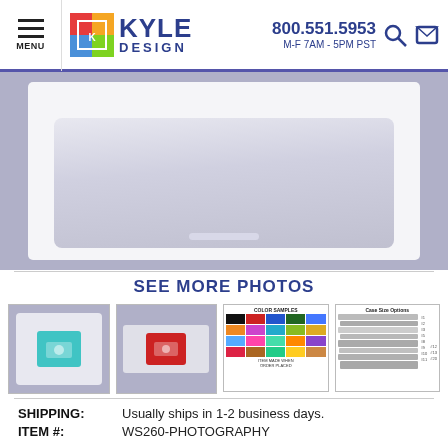MENU | KYLE DESIGN | 800.551.5953 | M-F 7AM - 5PM PST
[Figure (photo): Partial product photo showing top portion of a silver/blue card case on a purple-grey background]
SEE MORE PHOTOS
[Figure (photo): Thumbnail 1: Silver business card case with teal/blue camera icon design on blue-grey background]
[Figure (photo): Thumbnail 2: Silver business card case with red camera icon design on blue-grey background]
[Figure (photo): Thumbnail 3: Color samples chart showing grid of colored squares for enamel options]
[Figure (photo): Thumbnail 4: Case size options chart showing stacked card cases with size labels #1 through #20]
SHIPPING: Usually ships in 1-2 business days.
ITEM #: WS260-PHOTOGRAPHY
* COLOR BEHIND DESIGN:
VIEW COLORS
[Figure (photo): Color swatches row showing: black, magenta/pink, red, purple, blue, dark green squares]